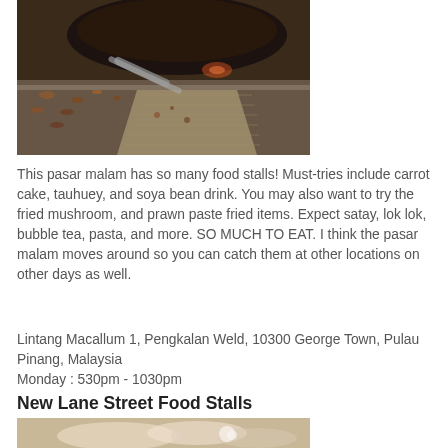[Figure (photo): A cooking pan with food being fried on a stove, with scattered ingredients on a metal surface]
This pasar malam has so many food stalls! Must-tries include carrot cake, tauhuey, and soya bean drink. You may also want to try the fried mushroom, and prawn paste fried items. Expect satay, lok lok, bubble tea, pasta, and more. SO MUCH TO EAT. I think the pasar malam moves around so you can catch them at other locations on other days as well.
Lintang Macallum 1, Pengkalan Weld, 10300 George Town, Pulau Pinang, Malaysia
Monday : 530pm - 1030pm
New Lane Street Food Stalls
[Figure (photo): Food photo at New Lane Street Food Stalls, showing a blurred close-up of food items]